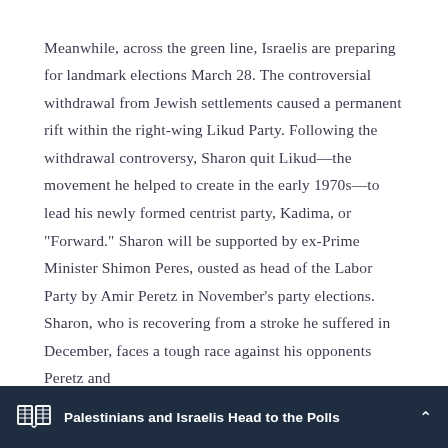Meanwhile, across the green line, Israelis are preparing for landmark elections March 28. The controversial withdrawal from Jewish settlements caused a permanent rift within the right-wing Likud Party. Following the withdrawal controversy, Sharon quit Likud—the movement he helped to create in the early 1970s—to lead his newly formed centrist party, Kadima, or "Forward." Sharon will be supported by ex-Prime Minister Shimon Peres, ousted as head of the Labor Party by Amir Peretz in November's party elections. Sharon, who is recovering from a stroke he suffered in December, faces a tough race against his opponents Peretz and
Palestinians and Israelis Head to the Polls